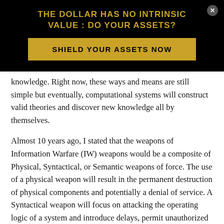THE DOLLAR HAS NO INTRINSIC VALUE : DO YOUR ASSETS?
[Figure (other): Call-to-action button: SHIELD YOUR ASSETS NOW on gold background]
knowledge. Right now, these ways and means are still simple but eventually, computational systems will construct valid theories and discover new knowledge all by themselves.
Almost 10 years ago, I stated that the weapons of Information Warfare (IW) weapons would be a composite of Physical, Syntactical, or Semantic weapons of force. The use of a physical weapon will result in the permanent destruction of physical components and potentially a denial of service. A Syntactical weapon will focus on attacking the operating logic of a system and introduce delays, permit unauthorized control and/or create unpredictable behaviors. Finally, a Semantic weapon would focus its effects on destroying the trust and truth maintenance components of a closed and erroneous